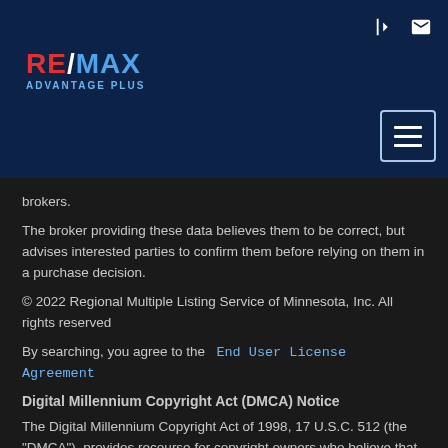[Figure (logo): RE/MAX Advantage Plus logo with red RE, white slash, blue MAX text and 'ADVANTAGE PLUS' subtitle]
brokers.
The broker providing these data believes them to be correct, but advises interested parties to confirm them before relying on them in a purchase decision.
© 2022 Regional Multiple Listing Service of Minnesota, Inc. All rights reserved
By searching, you agree to the  End User License Agreement
Digital Millennium Copyright Act (DMCA) Notice
The Digital Millennium Copyright Act of 1998, 17 U.S.C. 512 (the "DMCA"), provides recourse for copyright owners who believe that material appearing on the Internet infringes their rights under U.S. copyright law. If you believe in good faith that any content or material made available in connection with our website or